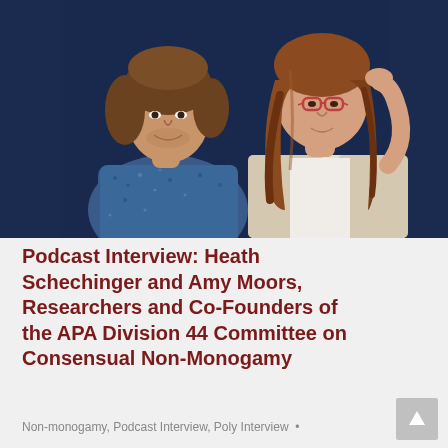[Figure (photo): Two people posing against a dark navy blue background. On the left, a man with medium-length brown hair wearing a blue floral patterned shirt. On the right, a woman with long wavy reddish-brown hair, wearing glasses, a white top, and a beige cardigan, with one hand raised to her head.]
Podcast Interview: Heath Schechinger and Amy Moors, Researchers and Co-Founders of the APA Division 44 Committee on Consensual Non-Monogamy
Non-monogamy, Podcast Interview, Poly Interview •